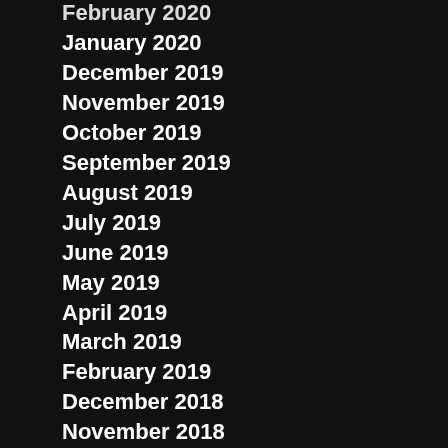February 2020
January 2020
December 2019
November 2019
October 2019
September 2019
August 2019
July 2019
June 2019
May 2019
April 2019
March 2019
February 2019
December 2018
November 2018
October 2018
September 2018